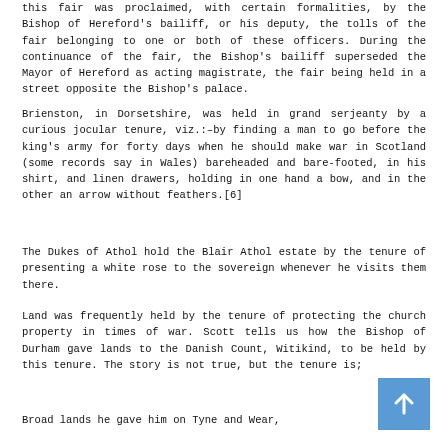this fair was proclaimed, with certain formalities, by the Bishop of Hereford's bailiff, or his deputy, the tolls of the fair belonging to one or both of these officers. During the continuance of the fair, the Bishop's bailiff superseded the Mayor of Hereford as acting magistrate, the fair being held in a street opposite the Bishop's palace.
Brienston, in Dorsetshire, was held in grand serjeanty by a curious jocular tenure, viz.:–by finding a man to go before the king's army for forty days when he should make war in Scotland (some records say in Wales) bareheaded and bare-footed, in his shirt, and linen drawers, holding in one hand a bow, and in the other an arrow without feathers.[6]
The Dukes of Athol hold the Blair Athol estate by the tenure of presenting a white rose to the sovereign whenever he visits them there.
Land was frequently held by the tenure of protecting the church property in times of war. Scott tells us how the Bishop of Durham gave lands to the Danish Count, Witikind, to be held by this tenure. The story is not true, but the tenure is;
Broad lands he gave him on Tyne and Wear,